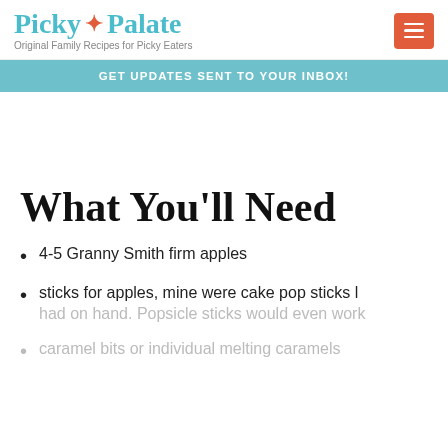Picky Palate — Original Family Recipes for Picky Eaters
GET UPDATES SENT TO YOUR INBOX!
What You'll Need
4-5 Granny Smith firm apples
sticks for apples, mine were cake pop sticks I had on hand. Popsicle sticks would even work
caramel bits or individual melting caramels